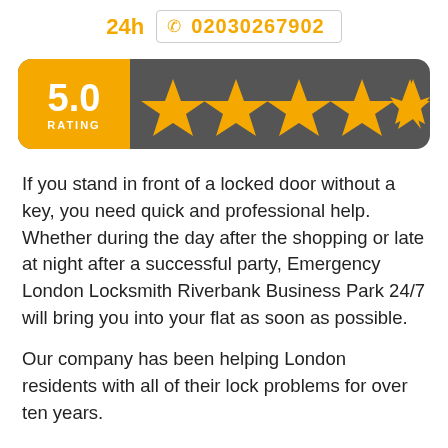24h  02030267902
[Figure (infographic): Rating badge showing 5.0 rating with 5 gold stars on a dark grey rounded bar]
If you stand in front of a locked door without a key, you need quick and professional help. Whether during the day after the shopping or late at night after a successful party, Emergency London Locksmith Riverbank Business Park 24/7 will bring you into your flat as soon as possible.
Our company has been helping London residents with all of their lock problems for over ten years.